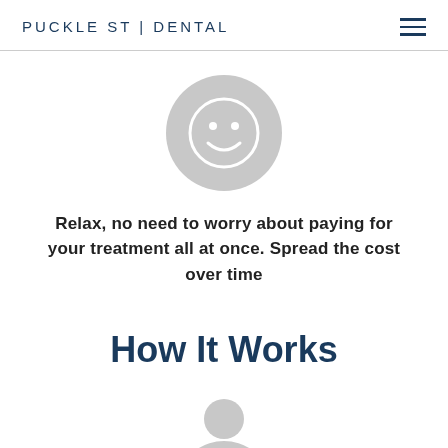PUCKLE ST | DENTAL
[Figure (illustration): Gray circle with a white smiley face icon in the center]
Relax, no need to worry about paying for your treatment all at once. Spread the cost over time
How It Works
[Figure (illustration): Gray circle partially visible at bottom of page, showing the top portion of a person/user icon]